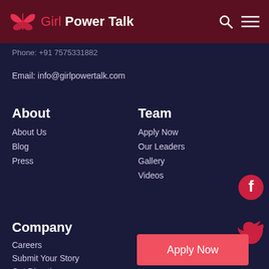Girl Power Talk
Phone: +91 7575331882
Email: info@girlpowertalk.com
About
About Us
Blog
Press
Team
Apply Now
Our Leaders
Gallery
Videos
[Figure (logo): Facebook icon circle red]
Company
[Figure (logo): Twitter bird icon red]
Careers
Submit Your Story
Get Directions
Privacy Policy
Apply Now
Contact Us
[Figure (logo): Google reCAPTCHA badge]